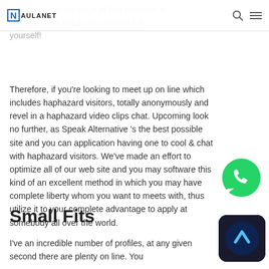AULANET
store on the other edge of that webcam, it can you need to be new passion for yourself!
Therefore, if you’re looking to meet up on line which includes haphazard visitors, totally anonymously and revel in a haphazard video clips chat. Upcoming look no further, as Speak Alternative ’s the best possible site and you can application having one to cool & chat with haphazard visitors. We’ve made an effort to optimize all of our web site and you may software this kind of an excellent method in which you may have complete liberty whom you want to meets with, thus utilize it to your complete advantage to apply at somebody all over the world.
[Figure (logo): WhatsApp green phone icon]
[Figure (logo): Dark app icon with arrow/chevron symbol]
Small Fits
I’ve an incredible number of profiles, at any given second there are plenty on line. You